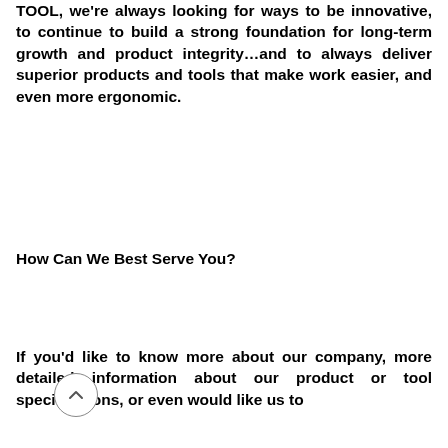TOOL, we're always looking for ways to be innovative, to continue to build a strong foundation for long-term growth and product integrity…and to always deliver superior products and tools that make work easier, and even more ergonomic.
How Can We Best Serve You?
If you'd like to know more about our company, more detailed information about our product or tool specifications, or even would like us to